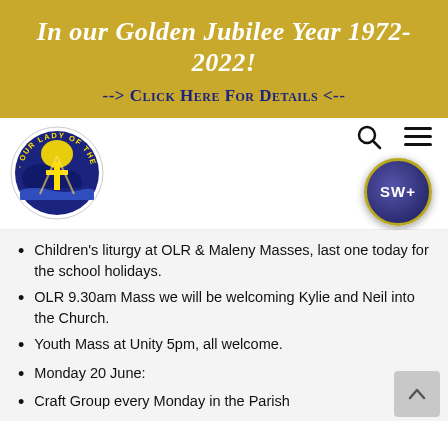In our Golden Jubilee Year 1972-2022!
--> Click Here For Details <--
[Figure (logo): Our Lady of the Rosary circular parish logo with blue and yellow design showing a cross and landscape]
Children's liturgy at OLR & Maleny Masses, last one today for the school holidays.
OLR 9.30am Mass we will be welcoming Kylie and Neil into the Church.
Youth Mass at Unity 5pm, all welcome.
Monday 20 June:
Craft Group every Monday in the Parish